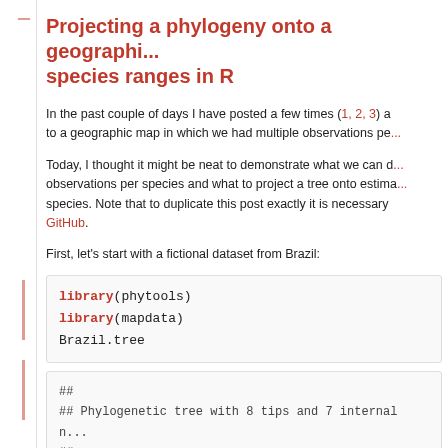Projecting a phylogeny onto a geographic map with species ranges in R
In the past couple of days I have posted a few times (1, 2, 3) a... to a geographic map in which we had multiple observations pe...
Today, I thought it might be neat to demonstrate what we can d... observations per species and what to project a tree onto estima... species. Note that to duplicate this post exactly it is necessary... GitHub.
First, let's start with a fictional dataset from Brazil:
[Figure (screenshot): R code block: library(phytools), library(mapdata), Brazil.tree]
[Figure (screenshot): R output block: ## Phylogenetic tree with 8 tips and 7 internal n... ## Tip labels: ##  I.ike, I.zawsgyqmd, C.mkgiraxh, I.nqxrdes T...]